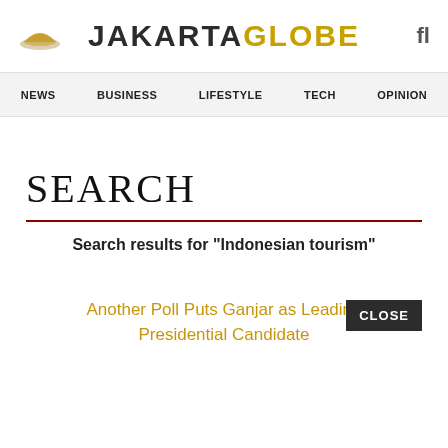[Figure (logo): Jakarta Globe newspaper logo with golden dome icon on the left, JAKARTA in dark grey and GLOBE in gold/amber, search icon on the right]
NEWS   BUSINESS   LIFESTYLE   TECH   OPINION
SEARCH
Search results for "Indonesian tourism"
Another Poll Puts Ganjar as Leading Presidential Candidate
CLOSE